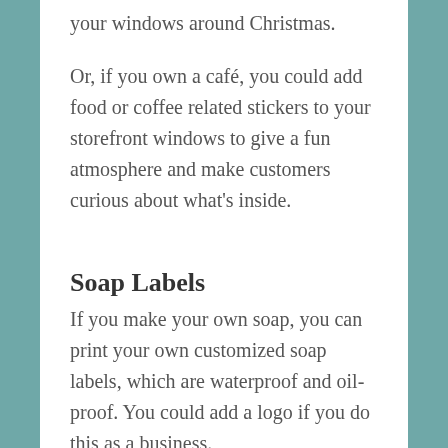your windows around Christmas.
Or, if you own a café, you could add food or coffee related stickers to your storefront windows to give a fun atmosphere and make customers curious about what's inside.
Soap Labels
If you make your own soap, you can print your own customized soap labels, which are waterproof and oil-proof. You could add a logo if you do this as a business.